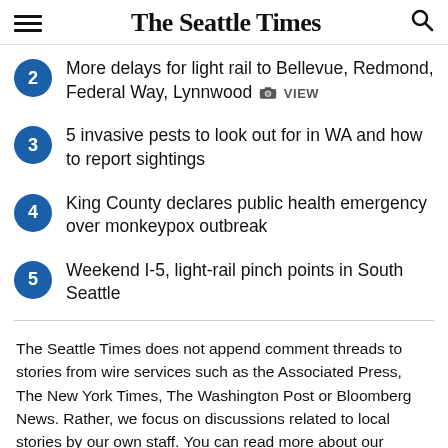The Seattle Times
2 More delays for light rail to Bellevue, Redmond, Federal Way, Lynnwood VIEW
3 5 invasive pests to look out for in WA and how to report sightings
4 King County declares public health emergency over monkeypox outbreak
5 Weekend I-5, light-rail pinch points in South Seattle
The Seattle Times does not append comment threads to stories from wire services such as the Associated Press, The New York Times, The Washington Post or Bloomberg News. Rather, we focus on discussions related to local stories by our own staff. You can read more about our community policies here.